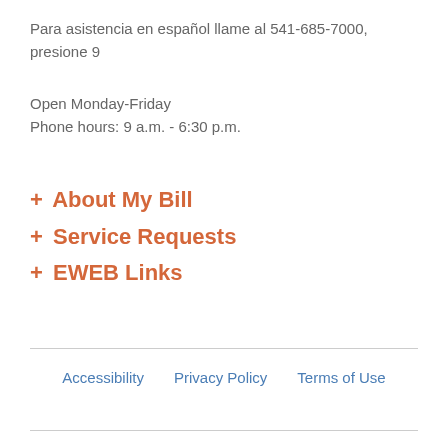Para asistencia en español llame al 541-685-7000, presione 9
Open Monday-Friday
Phone hours: 9 a.m. - 6:30 p.m.
+ About My Bill
+ Service Requests
+ EWEB Links
Accessibility   Privacy Policy   Terms of Use